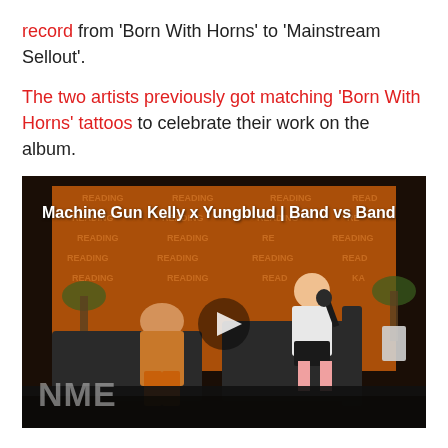record from 'Born With Horns' to 'Mainstream Sellout'.
The two artists previously got matching 'Born With Horns' tattoos to celebrate their work on the album.
[Figure (screenshot): Video thumbnail showing Machine Gun Kelly x Yungblud | Band vs Band interview at Reading Festival, with NME logo, play button overlay, two people seated on a couch in front of an orange Reading Festival backdrop.]